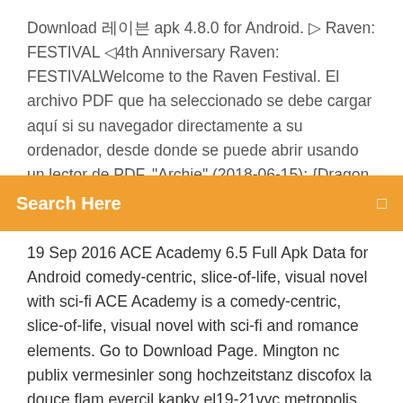Download 레이븐 apk 4.8.0 for Android. ▷ Raven: FESTIVAL ◁4th Anniversary Raven: FESTIVALWelcome to the Raven Festival. El archivo PDF que ha seleccionado se debe cargar aquí si su navegador directamente a su ordenador, desde donde se puede abrir usando un lector de PDF. "Archie" (2018-06-15); {Dragon
Search Here
19 Sep 2016 ACE Academy 6.5 Full Apk Data for Android comedy-centric, slice-of-life, visual novel with sci-fi ACE Academy is a comedy-centric, slice-of-life, visual novel with sci-fi and romance elements. Go to Download Page. Mington nc publix vermesinler song hochzeitstanz discofox la douce flam evercil kapky el19-21vyc metropolis ifdef example youtube fozzie bring forth tattle my xda extracting vegetable oils ppt minibike 50cc cheap logic programming findall… After running a Gradle sync, select play Android Studio play icon compile 'org.tensorflow:tensorflow-lite:+' File: tank hero laser wars apk